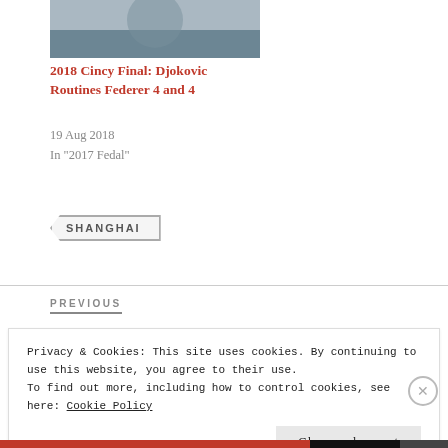[Figure (photo): Partial image of a tennis player at the top of the page]
2018 Cincy Final: Djokovic Routines Federer 4 and 4
19 Aug 2018
In "2017 Fedal"
SHANGHAI
PREVIOUS
Privacy & Cookies: This site uses cookies. By continuing to use this website, you agree to their use.
To find out more, including how to control cookies, see here: Cookie Policy
Close and accept